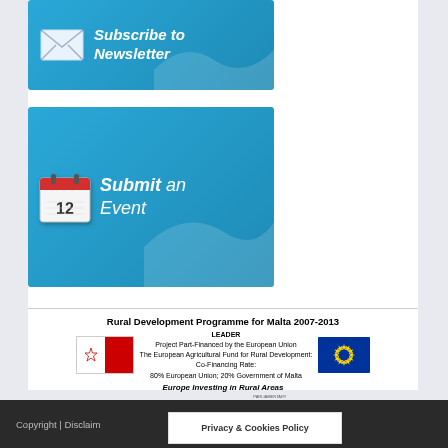[Figure (illustration): Blue banner with envelope icon and text 'Subscribe to Newsletter' in white italic bold font]
[Figure (illustration): Blue banner with calendar icon showing '12' and text 'Submit an Event' in white italic bold font]
Rural Development Programme for Malta 2007-2013
LEADER
Project Part-Financed by the European Union
The European Agricultural Fund for Rural Development:
Co-Financing Rate:
80% European Union; 20% Government of Malta
Europe Investing in Rural Areas
[Figure (logo): Row of logos: Malta flag, Gozo Tourism Association, Gozo Group, Malta Tourism Authority, Parliamentary Secretariat, Ministry for Tourism, EU flag]
Copyright | Disclaim...
Privacy & Cookies Policy